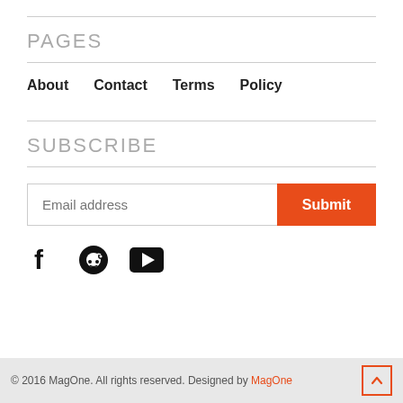PAGES
About
Contact
Terms
Policy
SUBSCRIBE
Email address
Submit
[Figure (illustration): Social media icons: Facebook, Reddit, YouTube]
© 2016 MagOne. All rights reserved. Designed by MagOne